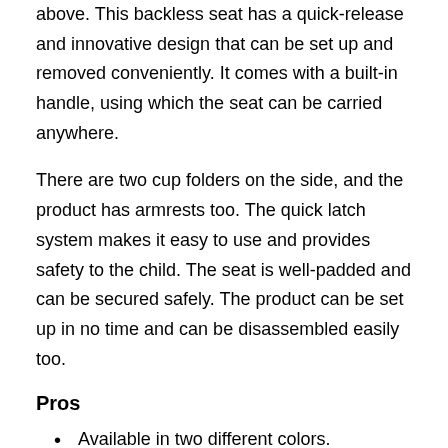above. This backless seat has a quick-release and innovative design that can be set up and removed conveniently. It comes with a built-in handle, using which the seat can be carried anywhere.
There are two cup folders on the side, and the product has armrests too. The quick latch system makes it easy to use and provides safety to the child. The seat is well-padded and can be secured safely. The product can be set up in no time and can be disassembled easily too.
Pros
Available in two different colors.
It comes with a shoulder belt for safety.
The fabrics can be washed in the machine.
Cons